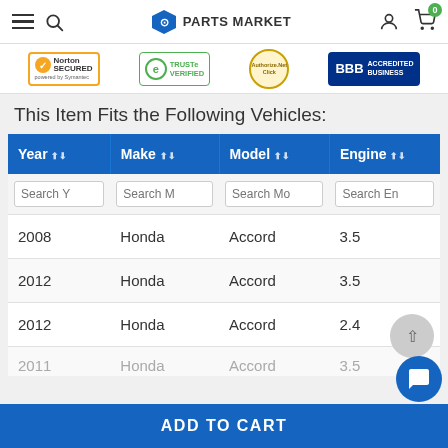PARTS MARKET
[Figure (logo): Trust badges bar: Norton Secured powered by Symantec, TRUSTe Verified, Authorize.Net Click, BBB Accredited Business]
This Item Fits the Following Vehicles:
| Year | Make | Model | Engine |
| --- | --- | --- | --- |
| 2008 | Honda | Accord | 3.5 |
| 2012 | Honda | Accord | 3.5 |
| 2012 | Honda | Accord | 2.4 |
| 2011 | Honda | Accord | 3.5 |
ADD TO CART